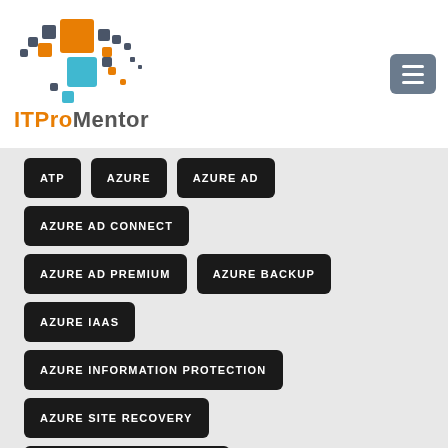[Figure (logo): ITProMentor logo with colored pixel squares in orange, blue, and grey]
ATP
AZURE
AZURE AD
AZURE AD CONNECT
AZURE AD PREMIUM
AZURE BACKUP
AZURE IAAS
AZURE INFORMATION PROTECTION
AZURE SITE RECOVERY
AZURE VIRTUAL NETWORK